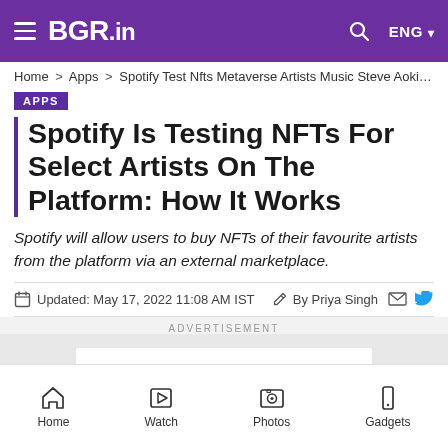BGR.in — ENG
Home > Apps > Spotify Test Nfts Metaverse Artists Music Steve Aoki T...
APPS
Spotify Is Testing NFTs For Select Artists On The Platform: How It Works
Spotify will allow users to buy NFTs of their favourite artists from the platform via an external marketplace.
Updated: May 17, 2022 11:08 AM IST   By Priya Singh
ADVERTISEMENT
Home  Watch  Photos  Gadgets